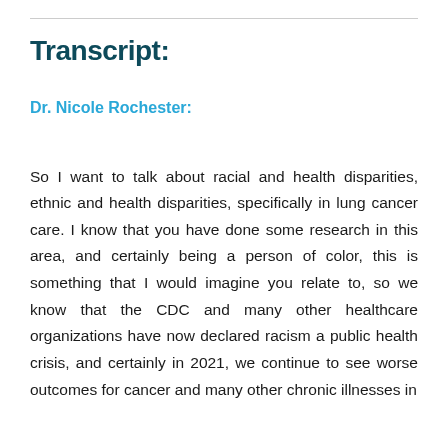Transcript:
Dr. Nicole Rochester:
So I want to talk about racial and health disparities, ethnic and health disparities, specifically in lung cancer care. I know that you have done some research in this area, and certainly being a person of color, this is something that I would imagine you relate to, so we know that the CDC and many other healthcare organizations have now declared racism a public health crisis, and certainly in 2021, we continue to see worse outcomes for cancer and many other chronic illnesses in